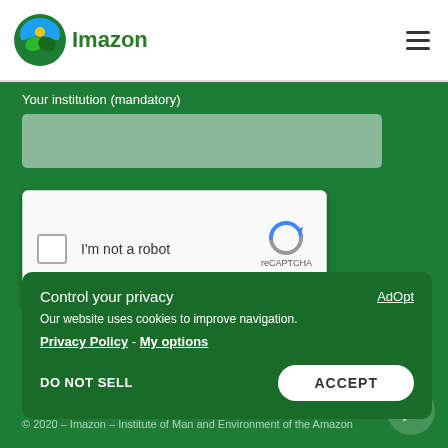Imazon
Your institution (mandatory)
[Figure (screenshot): reCAPTCHA widget with checkbox labeled 'I'm not a robot' and reCAPTCHA logo]
Control your privacy
AdOpt
Our website uses cookies to improve navigation.
Privacy Policy - My options
DO NOT SELL
ACCEPT
© 2020 – Imazon – Institute of Man and Environment of the Amazon